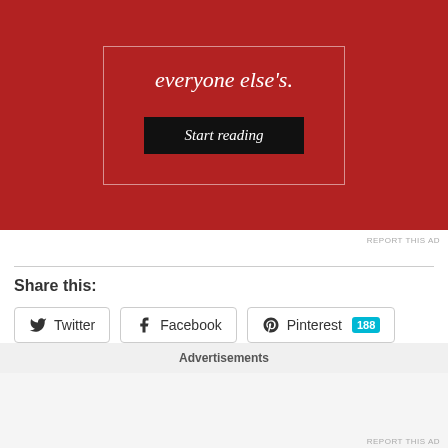[Figure (screenshot): Red advertisement banner with white text 'everyone else's.' and a black 'Start reading' button, with an inner white border outline]
REPORT THIS AD
Share this:
Twitter  Facebook  Pinterest 188
Food Review – Bar-B-Q Tonight Dubai
May 24, 2017
Women Making A Difference: Up Close and Personal with Saha Mohsin
Advertisements
REPORT THIS AD